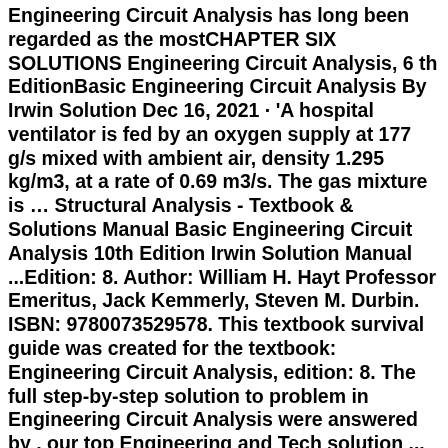Engineering Circuit Analysis has long been regarded as the mostCHAPTER SIX SOLUTIONS Engineering Circuit Analysis, 6 th EditionBasic Engineering Circuit Analysis By Irwin Solution Dec 16, 2021 · 'A hospital ventilator is fed by an oxygen supply at 177 g/s mixed with ambient air, density 1.295 kg/m3, at a rate of 0.69 m3/s. The gas mixture is … Structural Analysis - Textbook & Solutions Manual Basic Engineering Circuit Analysis 10th Edition Irwin Solution Manual ...Edition: 8. Author: William H. Hayt Professor Emeritus, Jack Kemmerly, Steven M. Durbin. ISBN: 9780073529578. This textbook survival guide was created for the textbook: Engineering Circuit Analysis, edition: 8. The full step-by-step solution to problem in Engineering Circuit Analysis were answered by , our top Engineering and Tech solution ... Engineering Electromagnetics Hayt 7th Edition Solution Manual Author: www.safss.msu.edu-2022-08-03T00:00:00+00:01 Subject: Engineering Electromagnetics Hayt 7th Edition Solution Manual Keywords: engineering